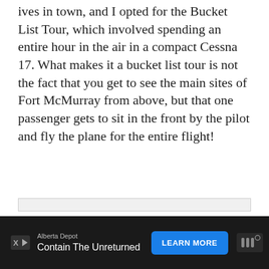ives in town, and I opted for the Bucket List Tour, which involved spending an entire hour in the air in a compact Cessna 17. What makes it a bucket list tour is not the fact that you get to see the main sites of Fort McMurray from above, but that one passenger gets to sit in the front by the pilot and fly the plane for the entire flight!
[Figure (other): Image placeholder area (light gray box, content not visible)]
Alberta Depot | Contain The Unreturned | LEARN MORE